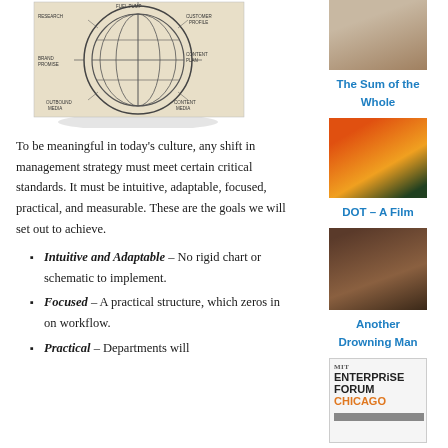[Figure (schematic): Engineering/mechanical schematic diagram, circular globe-like structure with labeled components, line drawing style]
To be meaningful in today’s culture, any shift in management strategy must meet certain critical standards. It must be intuitive, adaptable, focused, practical, and measurable. These are the goals we will set out to achieve.
Intuitive and Adaptable – No rigid chart or schematic to implement.
Focused – A practical structure, which zeros in on workflow.
Practical – Departments will
[Figure (photo): Close-up photograph of an elderly man's face]
The Sum of the Whole
[Figure (illustration): Colorful illustration with fire, leaves and abstract shapes]
DOT – A Film
[Figure (photo): Portrait photo of a person, dark toned]
Another Drowning Man
[Figure (logo): MIT Enterprise Forum Chicago logo/banner]
What is an Office?